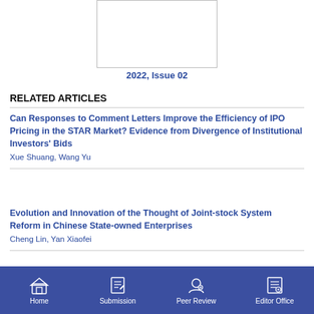[Figure (photo): Journal cover image placeholder, white box with border]
2022, Issue 02
RELATED ARTICLES
Can Responses to Comment Letters Improve the Efficiency of IPO Pricing in the STAR Market? Evidence from Divergence of Institutional Investors' Bids
Xue Shuang, Wang Yu
Evolution and Innovation of the Thought of Joint-stock System Reform in Chinese State-owned Enterprises
Cheng Lin, Yan Xiaofei
Home | Submission | Peer Review | Editor Office